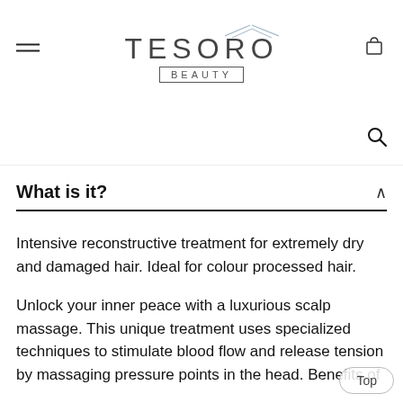[Figure (logo): Tesoro Beauty logo with decorative lines above, TESORO in large letters and BEAUTY in a bordered box below]
What is it?
Intensive reconstructive treatment for extremely dry and damaged hair. Ideal for colour processed hair.
Unlock your inner peace with a luxurious scalp massage. This unique treatment uses specialized techniques to stimulate blood flow and release tension by massaging pressure points in the head. Benefits of